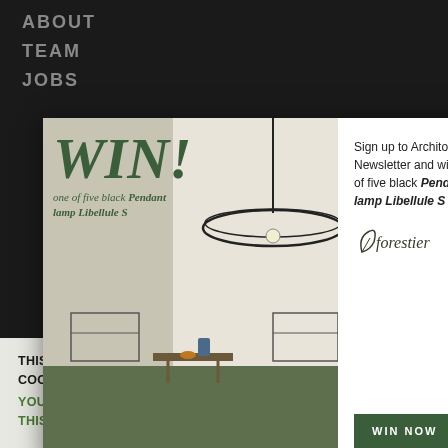ABOUT
TEAM
JOBS
[Figure (screenshot): Modal popup advertisement for Architonic Newsletter. Left side shows 'WIN!' text in dark green italic with subtext 'one of five black Pendant lamp Libellule S' over an interior room image with pendant lamp. Right side shows sign-up text and Forestier logo with WIN NOW button.]
THIS WEBSITE IS USING COOKIES AND 3RD PARTY SERVICE COOKIES TO ENSURE THE BEST EXPERIENCE FOR OUR USERS.
YOU STILL HAVE NOT DECIDED ON THE COOKIE CONSENT ON THIS WEBSITE. PRIVACY
EU COMPLIANT COOKIES
ACCEPT ALL COOKIES